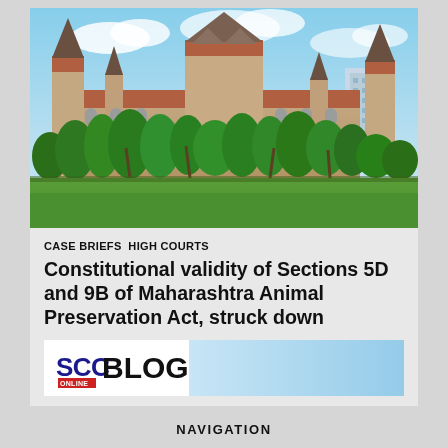[Figure (photo): Photograph of the Bombay High Court building — a large Victorian Gothic structure with ornate spires and red-tiled roofs, surrounded by palm trees and a green lawn, with a modern high-rise visible in the background under a partly cloudy blue sky.]
CASE BRIEFS  HIGH COURTS
Constitutional validity of Sections 5D and 9B of Maharashtra Animal Preservation Act, struck down
[Figure (logo): SCC Online Blog banner — white background with 'SCC' in dark blue bold text, 'ONLINE' in small red badge beneath, followed by 'BLOG' in large bold black text, with a sky-blue gradient background strip.]
NAVIGATION